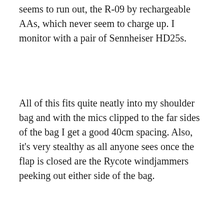seems to run out, the R-09 by rechargeable AAs, which never seem to charge up. I monitor with a pair of Sennheiser HD25s.
All of this fits quite neatly into my shoulder bag and with the mics clipped to the far sides of the bag I get a good 40cm spacing. Also, it's very stealthy as all anyone sees once the flap is closed are the Rycote windjammers peeking out either side of the bag.
[Figure (photo): Open olive-green waxed canvas shoulder bag with gold zipper, showing black headphones (Sennheiser HD25s) and recording equipment inside, set against a red background. Green LED indicator light visible inside the bag.]